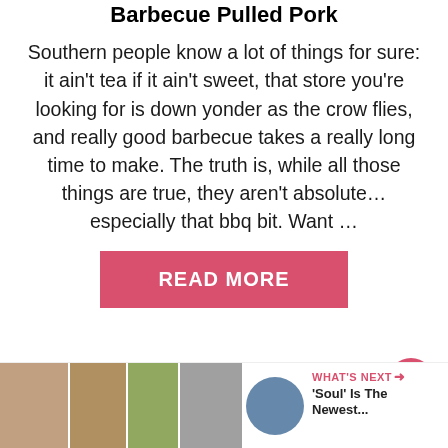Barbecue Pulled Pork
Southern people know a lot of things for sure: it ain't tea if it ain't sweet, that store you're looking for is down yonder as the crow flies, and really good barbecue takes a really long time to make. The truth is, while all those things are true, they aren't absolute… especially that bbq bit. Want …
[Figure (other): Pink READ MORE button]
[Figure (other): Bottom strip with food photos thumbnails and WHAT'S NEXT teaser for 'Soul' Is The Newest...]